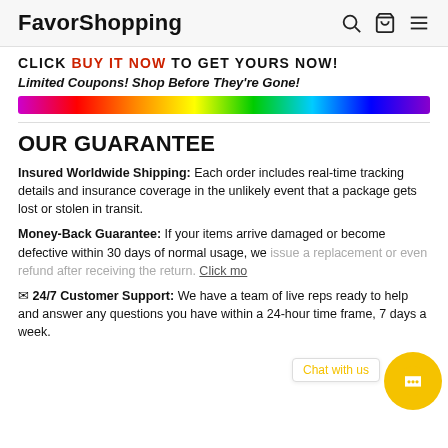FavorShopping
CLICK BUY IT NOW TO GET YOURS NOW!
Limited Coupons! Shop Before They're Gone!
[Figure (illustration): Rainbow gradient horizontal bar spanning full width]
OUR GUARANTEE
Insured Worldwide Shipping: Each order includes real-time tracking details and insurance coverage in the unlikely event that a package gets lost or stolen in transit.
Money-Back Guarantee: If your items arrive damaged or become defective within 30 days of normal usage, we issue a replacement or even refund after receiving the return. Click mo...
✉ 24/7 Customer Support: We have a team of live reps ready to help and answer any questions you have within a 24-hour time frame, 7 days a week.